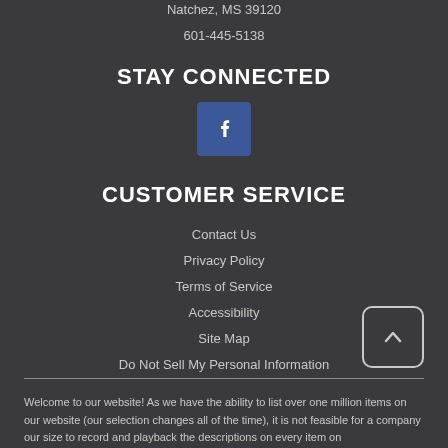Natchez, MS 39120
601-445-5138
STAY CONNECTED
[Figure (logo): Facebook icon — white letter f on blue rounded square background]
CUSTOMER SERVICE
Contact Us
Privacy Policy
Terms of Service
Accessibility
Site Map
Do Not Sell My Personal Information
Welcome to our website! As we have the ability to list over one million items on our website (our selection changes all of the time), it is not feasible for a company our size to record and playback the descriptions on every item on